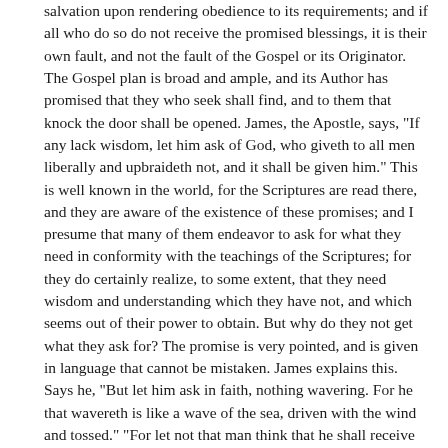salvation upon rendering obedience to its requirements; and if all who do so do not receive the promised blessings, it is their own fault, and not the fault of the Gospel or its Originator. The Gospel plan is broad and ample, and its Author has promised that they who seek shall find, and to them that knock the door shall be opened. James, the Apostle, says, "If any lack wisdom, let him ask of God, who giveth to all men liberally and upbraideth not, and it shall be given him." This is well known in the world, for the Scriptures are read there, and they are aware of the existence of these promises; and I presume that many of them endeavor to ask for what they need in conformity with the teachings of the Scriptures; for they do certainly realize, to some extent, that they need wisdom and understanding which they have not, and which seems out of their power to obtain. But why do they not get what they ask for? The promise is very pointed, and is given in language that cannot be mistaken. James explains this. Says he, "But let him ask in faith, nothing wavering. For he that wavereth is like a wave of the sea, driven with the wind and tossed." "For let not that man think that he shall receive anything of the Lord." But he who asks in a proper manner, who humbles himself before the Lord like a little child before its earthly parent, and is willing to trust in God, and comes before him doubting nothing, that man, or that woman, will receive what he or she shall ask for. God has